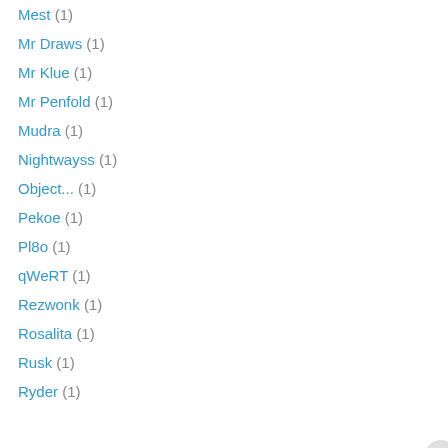Mest (1)
Mr Draws (1)
Mr Klue (1)
Mr Penfold (1)
Mudra (1)
Nightwayss (1)
Object... (1)
Pekoe (1)
Pl8o (1)
qWeRT (1)
Rezwonk (1)
Rosalita (1)
Rusk (1)
Ryder (1)
Privacy & Cookies: This site uses cookies. By continuing to use this website, you agree to their use. To find out more, including how to control cookies, see here: Cookie Policy
Close and accept